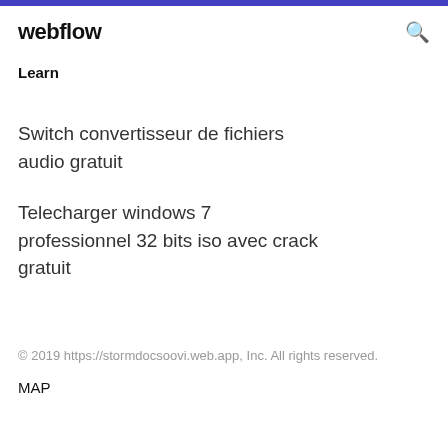webflow
Learn
Switch convertisseur de fichiers audio gratuit
Telecharger windows 7 professionnel 32 bits iso avec crack gratuit
© 2019 https://stormdocsoovi.web.app, Inc. All rights reserved.
MAP